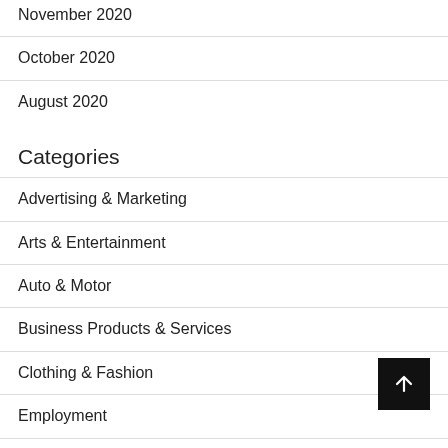November 2020
October 2020
August 2020
Categories
Advertising & Marketing
Arts & Entertainment
Auto & Motor
Business Products & Services
Clothing & Fashion
Employment
Financial